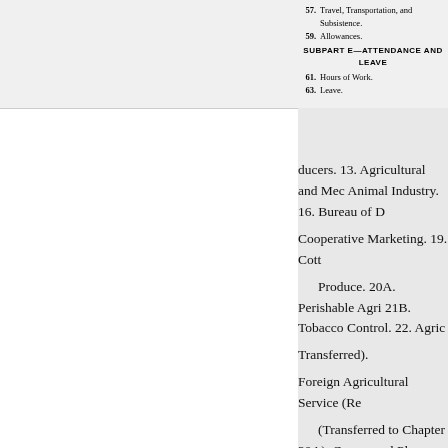57. Travel, Transportation, and Subsistence.
59. Allowances.
SUBPART E—ATTENDANCE AND LEAVE
61. Hours of Work.
63. Leave.
ducers. 13. Agricultural and Mec Animal Industry. 16. Bureau of D Cooperative Marketing. 19. Cott Produce. 20A. Perishable Agri 21B. Tobacco Control. 22. Agric Transferred). Foreign Agricultural Service (Re (Transferred to Chapter 20A). Grapes and Plums. 26. Agricultu Marketing (Omitted or Repealed Anti-Hog-Cholera Serum and Ho era Virus. 31. Rural Electrificatio ice. 31A. Distance Learning and grams. 32. Peanut Statistics. 33. or Repealed). 35. Agricultural Adjustment Act of 1